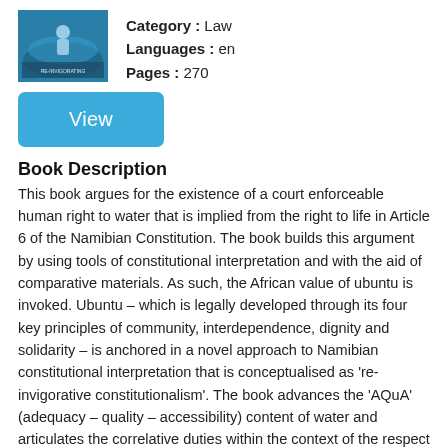[Figure (photo): Book cover thumbnail for a legal book about water rights and the Namibian Constitution]
Category : Law
Languages : en
Pages : 270
View
Book Description
This book argues for the existence of a court enforceable human right to water that is implied from the right to life in Article 6 of the Namibian Constitution. The book builds this argument by using tools of constitutional interpretation and with the aid of comparative materials. As such, the African value of ubuntu is invoked. Ubuntu – which is legally developed through its four key principles of community, interdependence, dignity and solidarity – is anchored in a novel approach to Namibian constitutional interpretation that is conceptualised as 're-invigorative constitutionalism'. The book advances the 'AQuA' (adequacy – quality – accessibility) content of water and articulates the correlative duties within the context of the respect – protect – fulfil trilogy, which are duties imposed